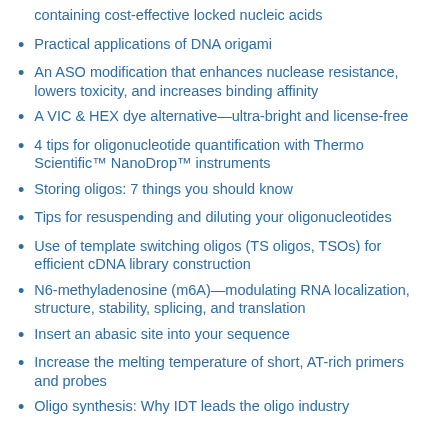containing cost-effective locked nucleic acids
Practical applications of DNA origami
An ASO modification that enhances nuclease resistance, lowers toxicity, and increases binding affinity
A VIC & HEX dye alternative—ultra-bright and license-free
4 tips for oligonucleotide quantification with Thermo Scientific™ NanoDrop™ instruments
Storing oligos: 7 things you should know
Tips for resuspending and diluting your oligonucleotides
Use of template switching oligos (TS oligos, TSOs) for efficient cDNA library construction
N6-methyladenosine (m6A)—modulating RNA localization, structure, stability, splicing, and translation
Insert an abasic site into your sequence
Increase the melting temperature of short, AT-rich primers and probes
Oligo synthesis: Why IDT leads the oligo industry